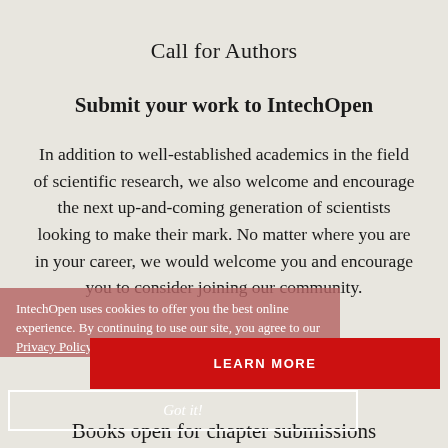Call for Authors
Submit your work to IntechOpen
In addition to well-established academics in the field of scientific research, we also welcome and encourage the next up-and-coming generation of scientists looking to make their mark. No matter where you are in your career, we would welcome you and encourage you to consider joining our community.
IntechOpen uses cookies to offer you the best online experience. By continuing to use our site, you agree to our Privacy Policy.
LEARN MORE
Got it!
Books open for chapter submissions